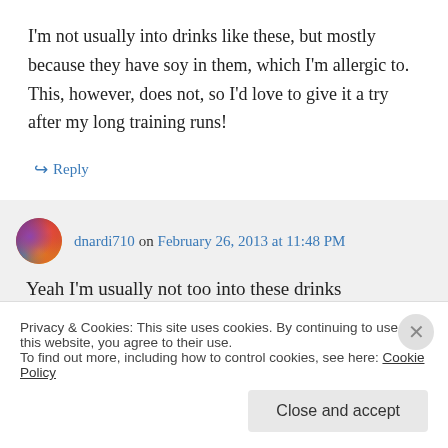I'm not usually into drinks like these, but mostly because they have soy in them, which I'm allergic to. This, however, does not, so I'd love to give it a try after my long training runs!
↳ Reply
dnardi710 on February 26, 2013 at 11:48 PM
Yeah I'm usually not too into these drinks
Privacy & Cookies: This site uses cookies. By continuing to use this website, you agree to their use.
To find out more, including how to control cookies, see here: Cookie Policy
Close and accept